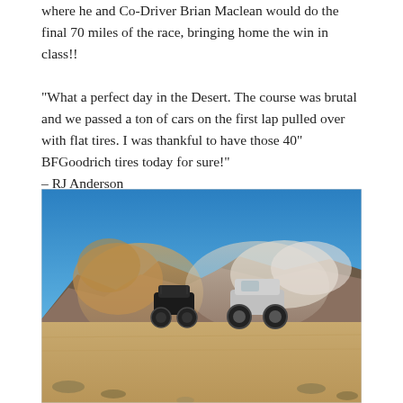where he and Co-Driver Brian Maclean would do the final 70 miles of the race, bringing home the win in class!!

"What a perfect day in the Desert. The course was brutal and we passed a ton of cars on the first lap pulled over with flat tires. I was thankful to have those 40" BFGoodrich tires today for sure!" – RJ Anderson
[Figure (photo): Two off-road race trucks kicking up large dust clouds in a desert landscape with mountains and blue sky in the background. The vehicles are racing side by side on sandy terrain with desert scrub brush visible.]